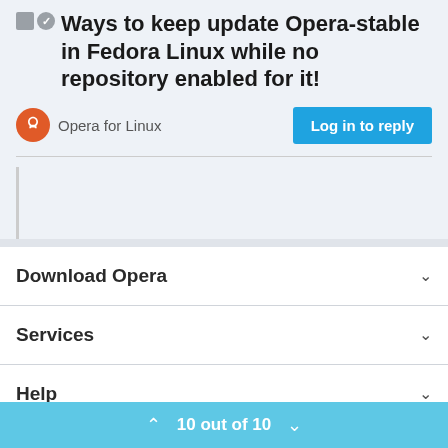Ways to keep update Opera-stable in Fedora Linux while no repository enabled for it!
Opera for Linux
Log in to reply
Download Opera
Services
Help
Legal
10 out of 10